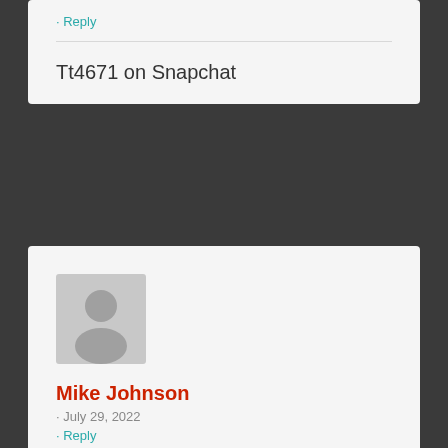· Reply
Tt4671 on Snapchat
[Figure (illustration): Generic user avatar: grey rounded square with silhouette of a person (head and shoulders) in slightly darker grey]
Mike Johnson
· July 29, 2022
· Reply
Well, I'm going to rate the first pic. It obviously had propper lighting.
Sweet & pink mmm!
I'd lick it for an hour or two before I thrust my meat in and cum in 3